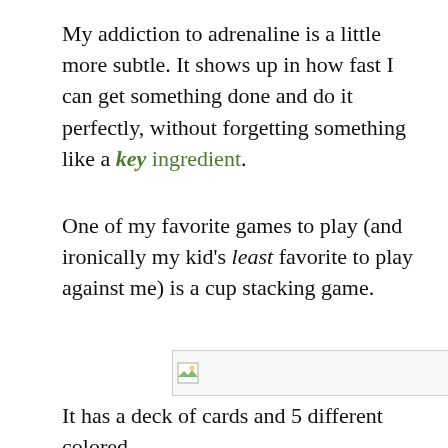My addiction to adrenaline is a little more subtle. It shows up in how fast I can get something done and do it perfectly, without forgetting something like a key ingredient.
One of my favorite games to play (and ironically my kid's least favorite to play against me) is a cup stacking game.
[Figure (photo): Broken/missing image placeholder with small image icon in top-left corner]
It has a deck of cards and 5 different colored